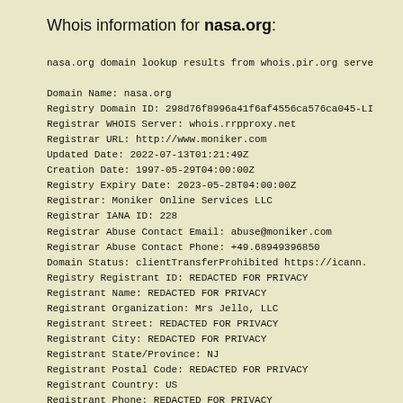Whois information for nasa.org:
nasa.org domain lookup results from whois.pir.org serve

Domain Name: nasa.org
Registry Domain ID: 298d76f8996a41f6af4556ca576ca045-LI
Registrar WHOIS Server: whois.rrpproxy.net
Registrar URL: http://www.moniker.com
Updated Date: 2022-07-13T01:21:49Z
Creation Date: 1997-05-29T04:00:00Z
Registry Expiry Date: 2023-05-28T04:00:00Z
Registrar: Moniker Online Services LLC
Registrar IANA ID: 228
Registrar Abuse Contact Email: abuse@moniker.com
Registrar Abuse Contact Phone: +49.68949396850
Domain Status: clientTransferProhibited https://icann.
Registry Registrant ID: REDACTED FOR PRIVACY
Registrant Name: REDACTED FOR PRIVACY
Registrant Organization: Mrs Jello, LLC
Registrant Street: REDACTED FOR PRIVACY
Registrant City: REDACTED FOR PRIVACY
Registrant State/Province: NJ
Registrant Postal Code: REDACTED FOR PRIVACY
Registrant Country: US
Registrant Phone: REDACTED FOR PRIVACY
Registrant Phone Ext: REDACTED FOR PRIVACY
Registrant Fax: REDACTED FOR PRIVACY
Registrant Fax Ext: REDACTED FOR PRIVACY